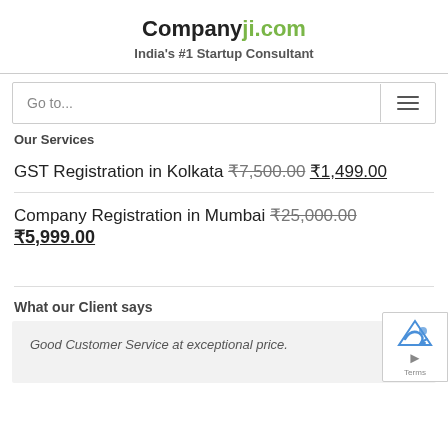Companyji.com — India's #1 Startup Consultant
Go to...
Our Services
GST Registration in Kolkata ₹7,500.00 ₹1,499.00
Company Registration in Mumbai ₹25,000.00 ₹5,999.00
What our Client says
Good Customer Service at exceptional price.